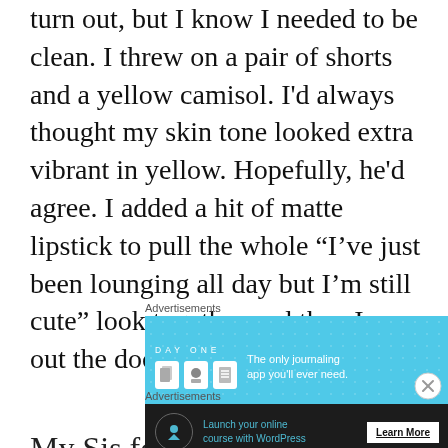turn out, but I know I needed to be clean. I threw on a pair of shorts and a yellow camisol. I'd always thought my skin tone looked extra vibrant in yellow. Hopefully, he'd agree. I added a hit of matte lipstick to pull the whole “I’ve just been lounging all day but I’m still cute” look together and then I was out the door.
Advertisements
[Figure (screenshot): Day One journaling app advertisement with blue background, icons, and text: 'The only journaling app you’ll ever need.']
REPORT THIS AD
My Sis found for — I really had
Advertisements
[Figure (screenshot): Dark advertisement: 'Launch your online course with WordPress' with Learn More button]
REPORT THIS AD